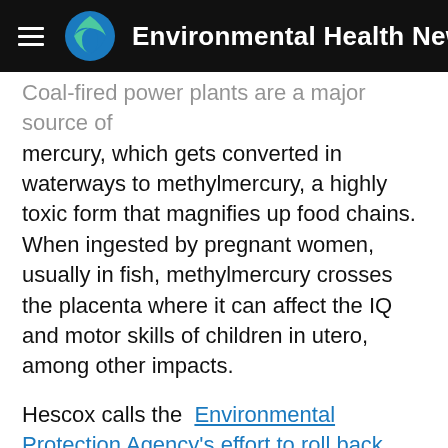Environmental Health News
Coal-fired power plants are a major source of mercury, which gets converted in waterways to methylmercury, a highly toxic form that magnifies up food chains. When ingested by pregnant women, usually in fish, methylmercury crosses the placenta where it can affect the IQ and motor skills of children in utero, among other impacts.
Hescox calls the Environmental Protection Agency's effort to roll back MATS "the most egregious act yet by this EPA to undermine the health and lives of our unborn children."
He spent much of 2011 and 2012 advocating for the rule, which limits the amount of mercury and